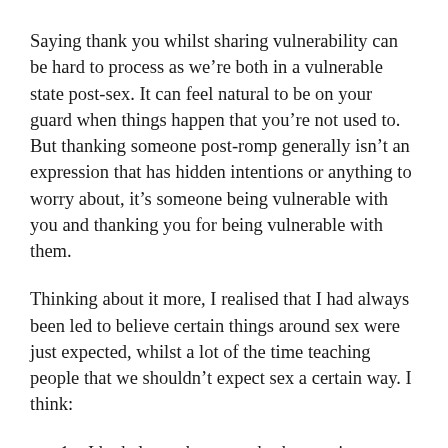Saying thank you whilst sharing vulnerability can be hard to process as we’re both in a vulnerable state post-sex. It can feel natural to be on your guard when things happen that you’re not used to. But thanking someone post-romp generally isn’t an expression that has hidden intentions or anything to worry about, it’s someone being vulnerable with you and thanking you for being vulnerable with them.
Thinking about it more, I realised that I had always been led to believe certain things around sex were just expected, whilst a lot of the time teaching people that we shouldn’t expect sex a certain way. I think:
I had always been taught that sex is something we should do but not talk about.